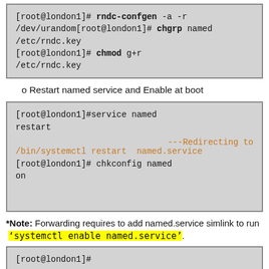[Figure (screenshot): Code block showing rndc-confgen and chgrp/chmod commands on root@london1]
o Restart named service and Enable at boot
[Figure (screenshot): Code block showing service named restart, redirecting to /bin/systemctl restart named.service, and chkconfig named on]
*Note: Forwarding requires to add named.service simlink to run 'systemctl enable named.service'.
[Figure (screenshot): Partial code block at bottom showing [root@london1]# prompt]